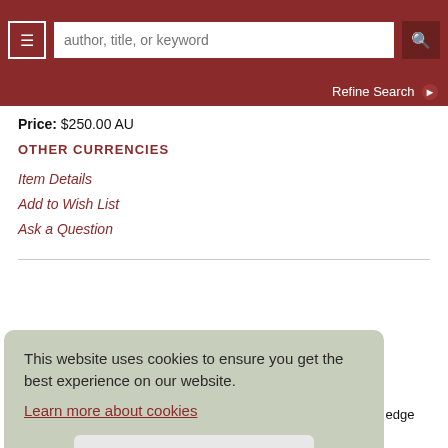author, title, or keyword | Refine Search
Price: $250.00 AU
OTHER CURRENCIES
Item Details
Add to Wish List
Ask a Question
This website uses cookies to ensure you get the best experience on our website.
Learn more about cookies
ACCEPT COOKIES
1856).
9 x 28.9
cm (sheet), upper and lower edge creased,